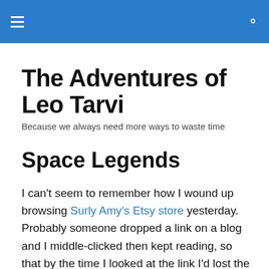The Adventures of Leo Tarvi
Because we always need more ways to waste time
Space Legends
I can't seem to remember how I wound up browsing Surly Amy's Etsy store yesterday. Probably someone dropped a link on a blog and I middle-clicked then kept reading, so that by the time I looked at the link I'd lost the association.
Anyway, while I was looking through the wearable ceramic art, I saw this “Space Day of the Dead Skull”